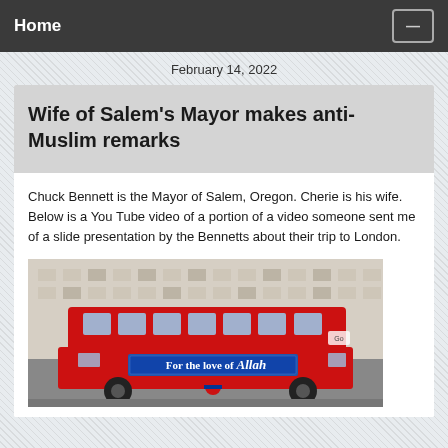Home
February 14, 2022
Wife of Salem's Mayor makes anti-Muslim remarks
Chuck Bennett is the Mayor of Salem, Oregon. Cherie is his wife. Below is a You Tube video of a portion of a video someone sent me of a slide presentation by the Bennetts about their trip to London.
[Figure (photo): A red double-decker London bus with a banner reading 'For the love of Allah' on its side, photographed on a London street with white classical buildings in the background.]